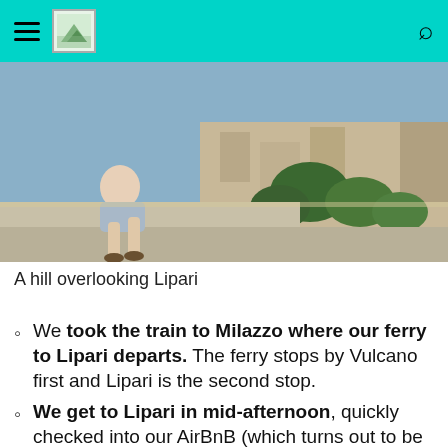Navigation header with hamburger menu, logo, and search icon
[Figure (photo): A person sitting on a stone wall overlooking the town of Lipari with buildings, vegetation, and blue sky in the background]
A hill overlooking Lipari
We took the train to Milazzo where our ferry to Lipari departs. The ferry stops by Vulcano first and Lipari is the second stop.
We get to Lipari in mid-afternoon, quickly checked into our AirBnB (which turns out to be horrible and we